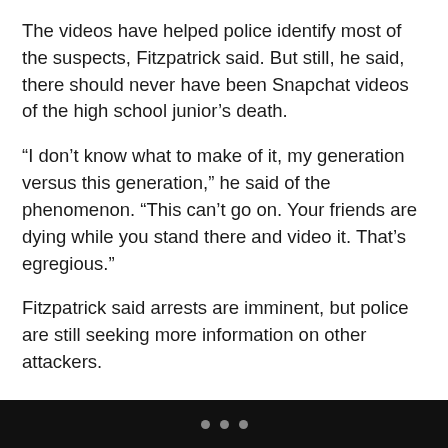The videos have helped police identify most of the suspects, Fitzpatrick said. But still, he said, there should never have been Snapchat videos of the high school junior's death.
“I don’t know what to make of it, my generation versus this generation,” he said of the phenomenon. “This can’t go on. Your friends are dying while you stand there and video it. That’s egregious.”
Fitzpatrick said arrests are imminent, but police are still seeking more information on other attackers.
Friends, family and classmates gathered in the parking lot for a vigil Tuesday night.
In an interview with Newsday, Morris’s older sisters
...